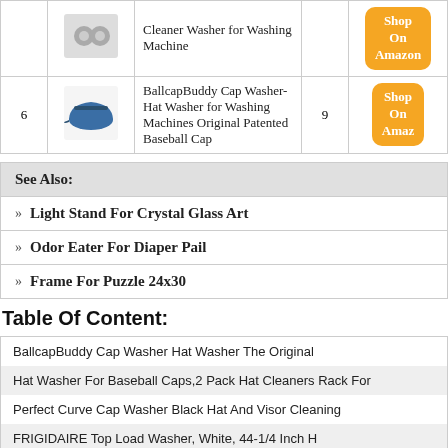| # | Image | Product Name | Score | Action |
| --- | --- | --- | --- | --- |
|  |  | Cleaner Washer for Washing Machine |  | Shop On Amazon |
| 6 |  | BallcapBuddy Cap Washer-Hat Washer for Washing Machines Original Patented Baseball Cap | 9 | Shop On Amazon |
See Also:
Light Stand For Crystal Glass Art
Odor Eater For Diaper Pail
Frame For Puzzle 24x30
Table Of Content:
BallcapBuddy Cap Washer Hat Washer The Original
Hat Washer For Baseball Caps,2 Pack Hat Cleaners Rack For
Perfect Curve Cap Washer Black Hat And Visor Cleaning
FRIGIDAIRE Top Load Washer, White, 44-1/4 Inch H